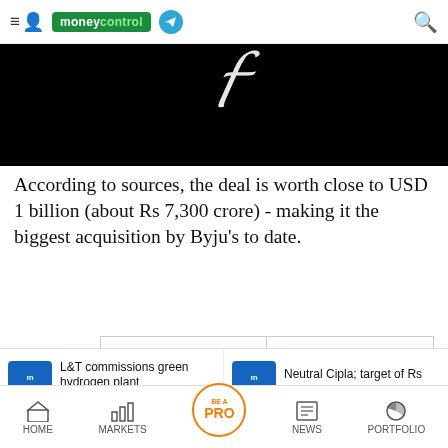moneycontrol
[Figure (photo): Black background hero image with partial white script typography visible at top]
According to sources, the deal is worth close to USD 1 billion (about Rs 7,300 crore) - making it the biggest acquisition by Byju's to date.
[Figure (infographic): MC SWOT - Know Before You Invest banner ad]
[Figure (infographic): TOP 200 BIG SHARK PORTFOLIO banner ad]
L&T commissions green hydrogen plant
Neutral Cipla; target of Rs 950: Motilal Oswal
HOME  MARKETS  BE A PRO  NEWS  PORTFOLIO